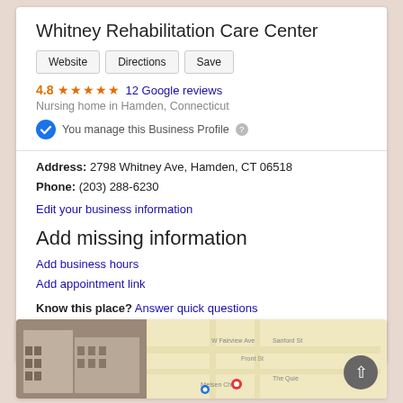Whitney Rehabilitation Care Center
4.8 ★★★★★ 12 Google reviews
Nursing home in Hamden, Connecticut
You manage this Business Profile
Address: 2798 Whitney Ave, Hamden, CT 06518
Phone: (203) 288-6230
Edit your business information
Add missing information
Add business hours
Add appointment link
Know this place? Answer quick questions
Questions & answers
[Figure (screenshot): Google Maps business listing screenshot showing building photo and map for Whitney Rehabilitation Care Center]